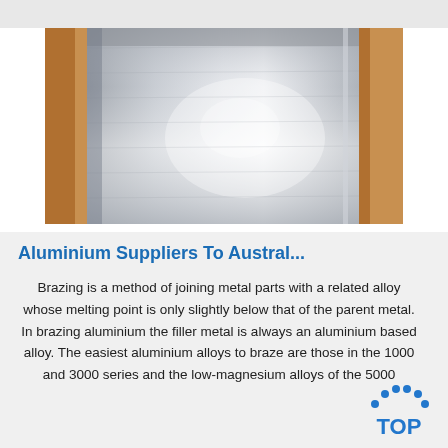[Figure (photo): Close-up photo of aluminium sheet metal, showing reflective brushed surface with golden/tan packaging material visible on the sides]
Aluminium Suppliers To Austral...
Brazing is a method of joining metal parts with a related alloy whose melting point is only slightly below that of the parent metal. In brazing aluminium the filler metal is always an aluminium based alloy. The easiest aluminium alloys to braze are those in the 1000 and 3000 series and the low-magnesium alloys of the 5000
[Figure (logo): TOP logo with blue dotted arc above the word TOP in blue letters]